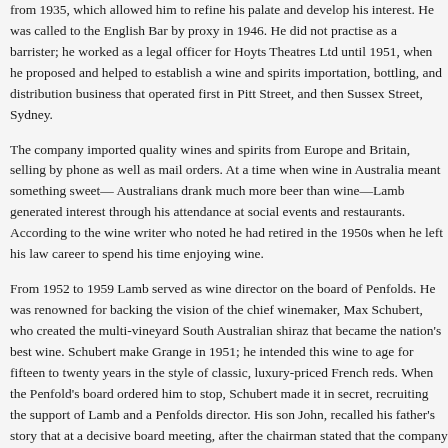from 1935, which allowed him to refine his palate and develop his interest. He was called to the English Bar by proxy in 1946. He did not practise as a barrister; he worked as a legal officer for Hoyts Theatres Ltd until 1951, when he proposed and helped to establish a wine and spirits importation, bottling, and distribution business that operated first in Pitt Street, and then Sussex Street, Sydney.
The company imported quality wines and spirits from Europe and Britain, selling by phone as well as mail orders. At a time when wine in Australia meant something sweet— Australians drank much more beer than wine—Lamb generated interest through his attendance at social events and restaurants. According to the wine writer who noted he had retired in the 1950s when he left his law career to spend his time enjoying wine.
From 1952 to 1959 Lamb served as wine director on the board of Penfolds. He was renowned for backing the vision of the chief winemaker, Max Schubert, who created the multi-vineyard South Australian shiraz that became the nation's best wine. Schubert make Grange in 1951; he intended this wine to age for fifteen to twenty years in the style of classic, luxury-priced French reds. When the Penfold's board ordered him to stop, Schubert made it in secret, recruiting the support of Lamb and a Penfolds director. His son John, recalled his father's story that at a decisive board meeting, after the chairman stated that the company could not afford to continue making Grange, Lamb used his skills as barrister to retort 'I put it to the board that Penfold's cannot afford not to' (J. Lamb, pers. comm.). This resulted in the vote in favour of Schubert's wine.